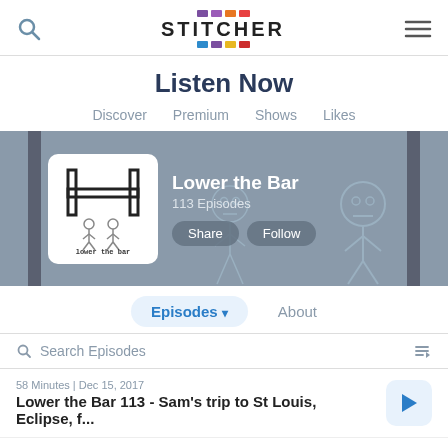[Figure (screenshot): Stitcher app header with search icon, Stitcher logo, and hamburger menu]
Listen Now
Discover
Premium
Shows
Likes
[Figure (screenshot): Lower the Bar podcast banner with artwork showing stick figures, title, episode count, Share and Follow buttons]
Episodes ▾
About
Search Episodes
58 Minutes | Dec 15, 2017
Lower the Bar 113 - Sam's trip to St Louis, Eclipse, f...
63 Minutes | Nov 21, 2017
Lower the Bar 112 - L.A. County Fair - Inhumans Re...